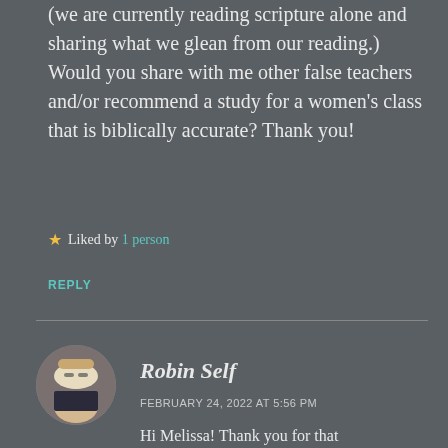(we are currently reading scripture alone and sharing what we glean from our reading.) Would you share with me other false teachers and/or recommend a study for a women's class that is biblically accurate? Thank you!
★ Liked by 1 person
REPLY
[Figure (photo): Circular avatar photo of Robin Self, a woman with blonde hair and glasses]
Robin Self
FEBRUARY 24, 2022 AT 5:56 PM
Hi Melissa! Thank you for that encouragement today! I got reamed